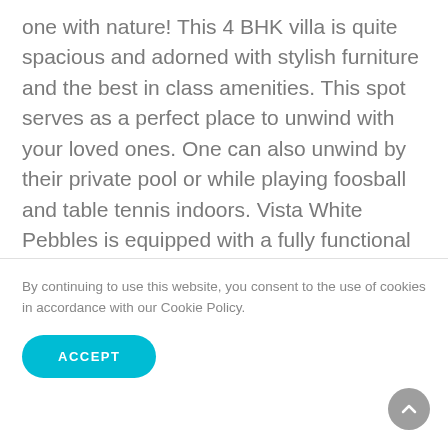one with nature! This 4 BHK villa is quite spacious and adorned with stylish furniture and the best in class amenities. This spot serves as a perfect place to unwind with your loved ones. One can also unwind by their private pool or while playing foosball and table tennis indoors. Vista White Pebbles is equipped with a fully functional private kitchen where guests can cook mouth-watering delicacies for themselves alongside a flat-screen TV, AC in all the bedrooms and wardrobes!
By continuing to use this website, you consent to the use of cookies in accordance with our Cookie Policy.
ACCEPT